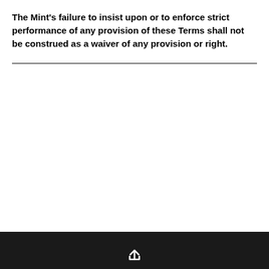The Mint's failure to insist upon or to enforce strict performance of any provision of these Terms shall not be construed as a waiver of any provision or right.